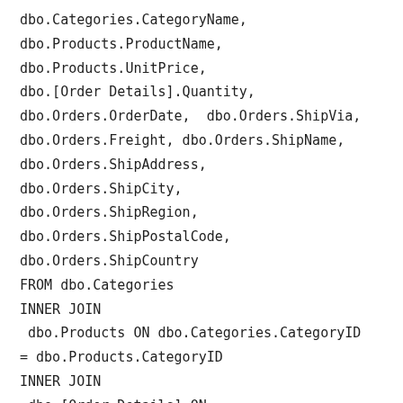dbo.Categories.CategoryName,
dbo.Products.ProductName,
dbo.Products.UnitPrice,
dbo.[Order Details].Quantity,
dbo.Orders.OrderDate,  dbo.Orders.ShipVia,
dbo.Orders.Freight, dbo.Orders.ShipName,
dbo.Orders.ShipAddress,
dbo.Orders.ShipCity,
dbo.Orders.ShipRegion,
dbo.Orders.ShipPostalCode,
dbo.Orders.ShipCountry
FROM dbo.Categories
INNER JOIN
 dbo.Products ON dbo.Categories.CategoryID
= dbo.Products.CategoryID
INNER JOIN
 dbo.[Order Details] ON